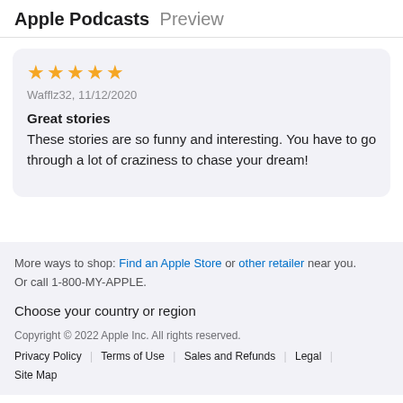Apple Podcasts Preview
★★★★★
Wafflz32, 11/12/2020
Great stories
These stories are so funny and interesting. You have to go through a lot of craziness to chase your dream!
More ways to shop: Find an Apple Store or other retailer near you. Or call 1-800-MY-APPLE. Choose your country or region Copyright © 2022 Apple Inc. All rights reserved. Privacy Policy | Terms of Use | Sales and Refunds | Legal | Site Map